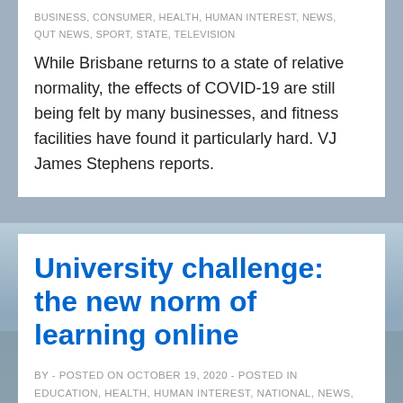BUSINESS, CONSUMER, HEALTH, HUMAN INTEREST, NEWS, QUT NEWS, SPORT, STATE, TELEVISION
While Brisbane returns to a state of relative normality, the effects of COVID-19 are still being felt by many businesses, and fitness facilities have found it particularly hard. VJ James Stephens reports.
University challenge: the new norm of learning online
BY  -  POSTED ON  OCTOBER 19, 2020  -  POSTED IN EDUCATION, HEALTH, HUMAN INTEREST, NATIONAL, NEWS, QUT NEWS, TECHNOLOGY, TELEVISION